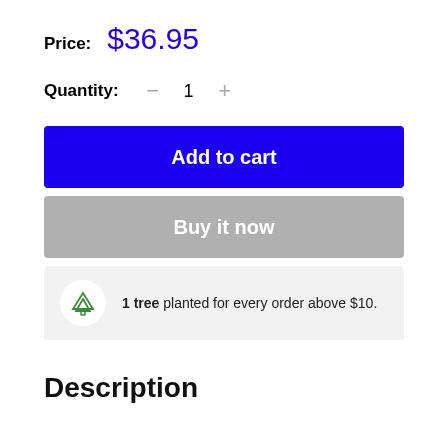Price: $36.95
Quantity: − 1 +
Add to cart
Buy it now
1 tree planted for every order above $10.
Description